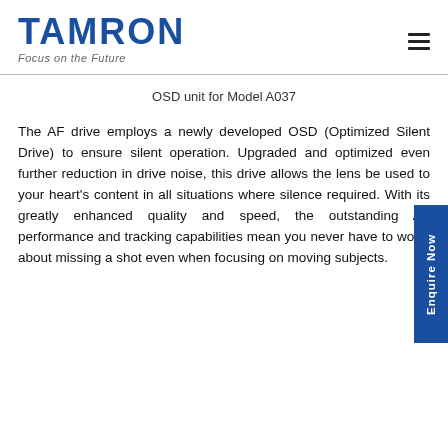TAMRON Focus on the Future
OSD unit for Model A037
The AF drive employs a newly developed OSD (Optimized Silent Drive) to ensure silent operation. Upgraded and optimized even further reduction in drive noise, this drive allows the lens be used to your heart's content in all situations where silence required. With its greatly enhanced quality and speed, the outstanding AF performance and tracking capabilities mean you never have to worry about missing a shot even when focusing on moving subjects.